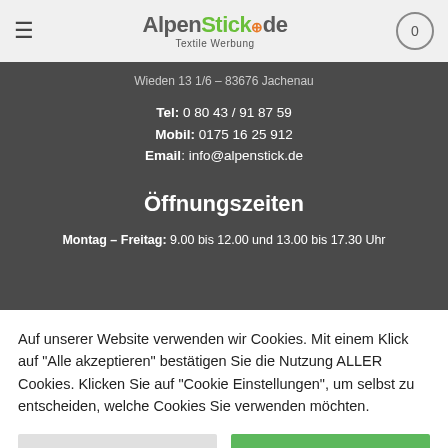AlpenStick.de – Textile Werbung
Wieden 13 1/6 – 83676 Jachenau
Tel: 0 80 43 / 91 87 59
Mobil: 0175 16 25 912
Email: info@alpenstick.de
Öffnungszeiten
Montag – Freitag: 9.00 bis 12.00 und 13.00 bis 17.30 Uhr
Auf unserer Website verwenden wir Cookies. Mit einem Klick auf "Alle akzeptieren" bestätigen Sie die Nutzung ALLER Cookies. Klicken Sie auf "Cookie Einstellungen", um selbst zu entscheiden, welche Cookies Sie verwenden möchten.